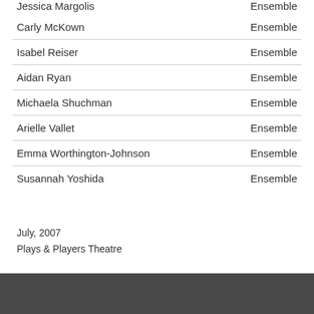| Name | Role |
| --- | --- |
| Jessica Margolis | Ensemble |
| Carly McKown | Ensemble |
| Isabel Reiser | Ensemble |
| Aidan Ryan | Ensemble |
| Michaela Shuchman | Ensemble |
| Arielle Vallet | Ensemble |
| Emma Worthington-Johnson | Ensemble |
| Susannah Yoshida | Ensemble |
July, 2007
Plays & Players Theatre